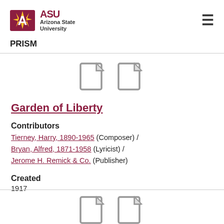[Figure (logo): Arizona State University logo with ASU text in maroon and sunburst icon, followed by 'Arizona State University' text]
PRISM
[Figure (other): Two document/file icons side by side]
Garden of Liberty
Contributors
Tierney, Harry, 1890-1965 (Composer) / Bryan, Alfred, 1871-1958 (Lyricist) / Jerome H. Remick & Co. (Publisher)
Created
1917
[Figure (other): Two document/file icons side by side (partial, bottom of page)]